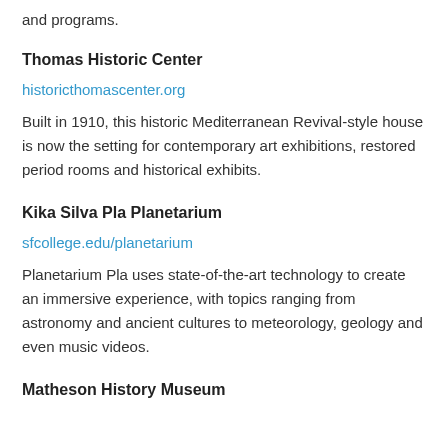and programs.
Thomas Historic Center
historicthomascenter.org
Built in 1910, this historic Mediterranean Revival-style house is now the setting for contemporary art exhibitions, restored period rooms and historical exhibits.
Kika Silva Pla Planetarium
sfcollege.edu/planetarium
Planetarium Pla uses state-of-the-art technology to create an immersive experience, with topics ranging from astronomy and ancient cultures to meteorology, geology and even music videos.
Matheson History Museum